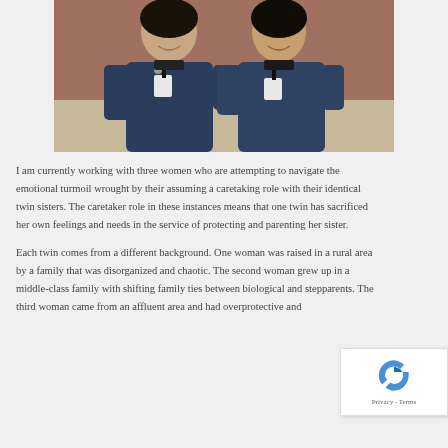[Figure (photo): Two women wearing navy blue medical scrubs and ID badges, smiling, standing outdoors in front of a brick building.]
I am currently working with three women who are attempting to navigate the emotional turmoil wrought by their assuming a caretaking role with their identical twin sisters. The caretaker role in these instances means that one twin has sacrificed her own feelings and needs in the service of protecting and parenting her sister.
Each twin comes from a different background. One woman was raised in a rural area by a family that was disorganized and chaotic. The second woman grew up in a middle-class family with shifting family ties between biological and stepparents. The third woman came from an affluent area and had overprotective and...